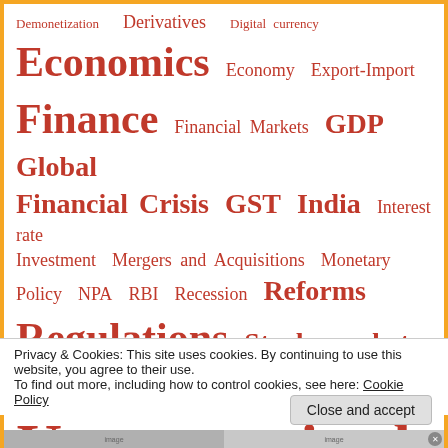[Figure (infographic): Tag cloud with financial/economic terms in red, varying sizes indicating frequency/importance. Terms include: Demonetization, Derivatives, Digital currency, Economics, Economy, Export-Import, Finance, Financial Markets, GDP, Global Financial Crisis, GST, India, Interest rate, Investment, Mergers and Acquisitions, Monetary Policy, NPA, RBI, Recession, Reforms, Regulations, Stock market, Tax, Trade, Uncategorized.]
Privacy & Cookies: This site uses cookies. By continuing to use this website, you agree to their use.
To find out more, including how to control cookies, see here: Cookie Policy